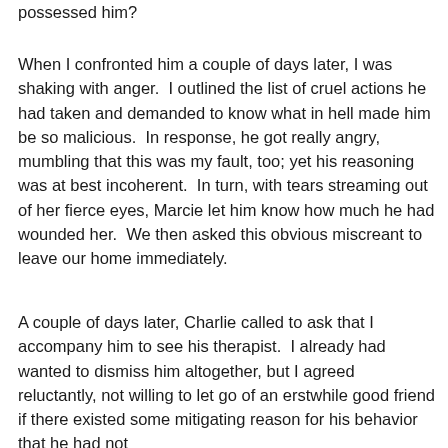possessed him?
When I confronted him a couple of days later, I was shaking with anger.  I outlined the list of cruel actions he had taken and demanded to know what in hell made him be so malicious.  In response, he got really angry, mumbling that this was my fault, too; yet his reasoning was at best incoherent.  In turn, with tears streaming out of her fierce eyes, Marcie let him know how much he had wounded her.  We then asked this obvious miscreant to leave our home immediately.
A couple of days later, Charlie called to ask that I accompany him to see his therapist.  I already had wanted to dismiss him altogether, but I agreed reluctantly, not willing to let go of an erstwhile good friend if there existed some mitigating reason for his behavior that he had not